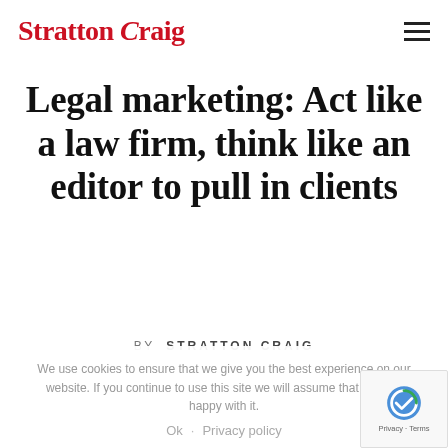Stratton Craig
Legal marketing: Act like a law firm, think like an editor to pull in clients
BY  STRATTON CRAIG
We use cookies to ensure that we give you the best experience on our website. If you continue to use this site we will assume that you are happy with it.
Ok   Privacy policy